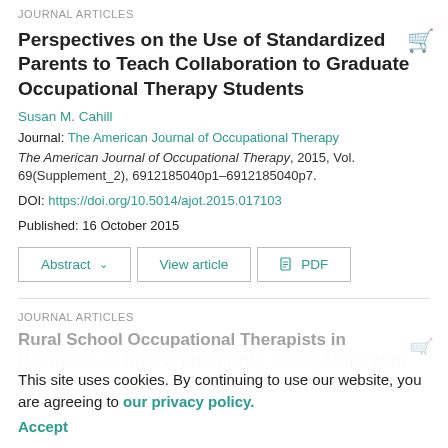JOURNAL ARTICLES
Perspectives on the Use of Standardized Parents to Teach Collaboration to Graduate Occupational Therapy Students
Susan M. Cahill
Journal: The American Journal of Occupational Therapy
The American Journal of Occupational Therapy, 2015, Vol. 69(Supplement_2), 6912185040p1–6912185040p7.
DOI: https://doi.org/10.5014/ajot.2015.017103
Published: 16 October 2015
JOURNAL ARTICLES
Rural School Occupational Therapists in Response to Intervention (RtI): Doing More With Less?
This site uses cookies. By continuing to use our website, you are agreeing to our privacy policy. Accept